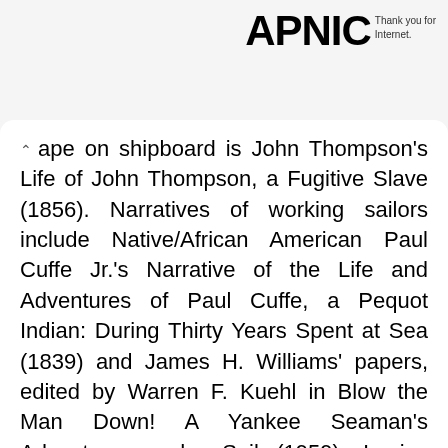APNIC Thank you for Internet.
ape on shipboard is John Thompson's Life of John Thompson, a Fugitive Slave (1856). Narratives of working sailors include Native/African American Paul Cuffe Jr.'s Narrative of the Life and Adventures of Paul Cuffe, a Pequot Indian: During Thirty Years Spent at Sea (1839) and James H. Williams' papers, edited by Warren F. Kuehl in Blow the Man Down! A Yankee Seaman's Adventures under Sail (1959). Louise Meriwether's historical novel Fragments of the Ark (1994) tells the story of a ship pilot and slave who commandeers a Confederate gunboat and